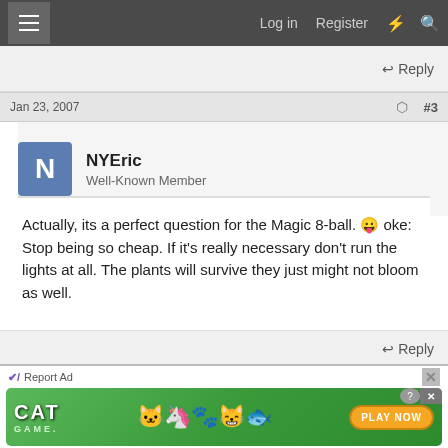Log in  Register
Reply
Jan 23, 2007   #3
NYEric
Well-Known Member
Actually, its a perfect question for the Magic 8-ball. 😛 oke:
Stop being so cheap. If it's really necessary don't run the lights at all. The plants will survive they just might not bloom as well.
Reply
Report Ad